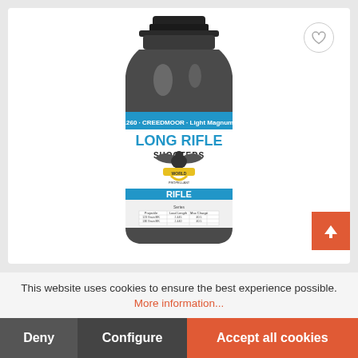[Figure (photo): A bottle of Shooters World Long Rifle propellant powder for .260 Creedmoor - Light Magnum, dark metallic bottle with blue and white label showing LONG RIFLE text and Shooters World logo with an eagle, RIFLE Series label at bottom with load data table]
This website uses cookies to ensure the best experience possible. More information...
Deny
Configure
Accept all cookies